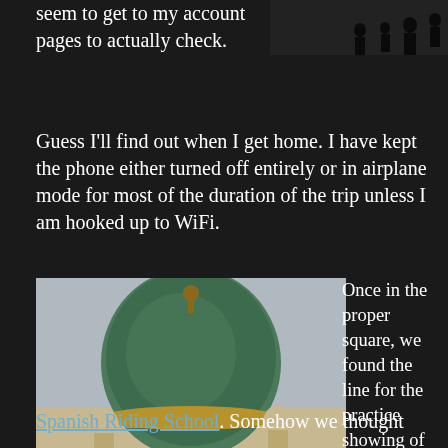seem to get to my account pages to actually check.
[Figure (photo): Dark photo of people walking, silhouettes against a light background]
Guess I'll find out when I get home. I have kept the phone either turned off entirely or in airplane mode for most of the duration of the trip unless I am hooked up to WiFi.
[Figure (photo): Photo of an ornate European building dome with green copper roof and decorative statues, likely in Vienna (Hofburg Palace area)]
Once in the proper square, we found the line for the practice showing of the
Spanish Riding School. Somehow we thought